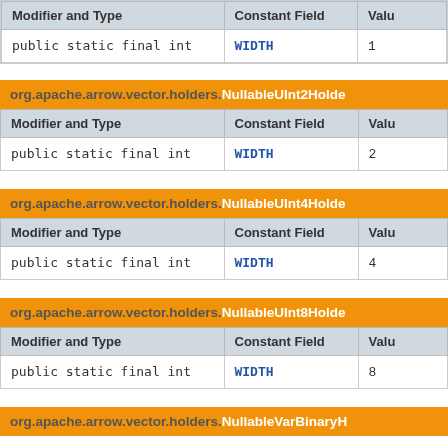| Modifier and Type | Constant Field | Value |
| --- | --- | --- |
| public static final int | WIDTH | 1 |
org.apache.arrow.vector.holders.NullableUInt2Holder
| Modifier and Type | Constant Field | Value |
| --- | --- | --- |
| public static final int | WIDTH | 2 |
org.apache.arrow.vector.holders.NullableUInt4Holder
| Modifier and Type | Constant Field | Value |
| --- | --- | --- |
| public static final int | WIDTH | 4 |
org.apache.arrow.vector.holders.NullableUInt8Holder
| Modifier and Type | Constant Field | Value |
| --- | --- | --- |
| public static final int | WIDTH | 8 |
org.apache.arrow.vector.holders.NullableVarBinaryH...